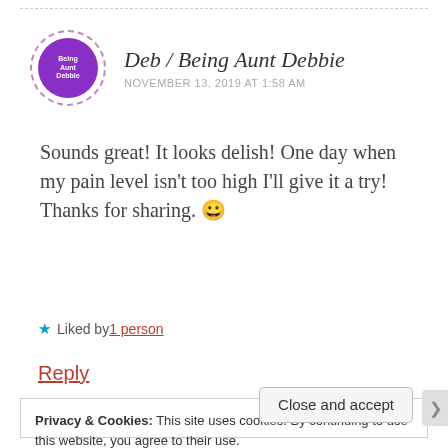[Figure (photo): Circular avatar with dashed purple border, purple background, white text reading 'Being Aunt Debbie']
Deb / Being Aunt Debbie
NOVEMBER 13, 2019 AT 1:58 AM
Sounds great! It looks delish! One day when my pain level isn't too high I'll give it a try! Thanks for sharing. 😀
★ Liked by 1 person
Reply
Privacy & Cookies: This site uses cookies. By continuing to use this website, you agree to their use.
To find out more, including how to control cookies, see here:
Cookie Policy
Close and accept